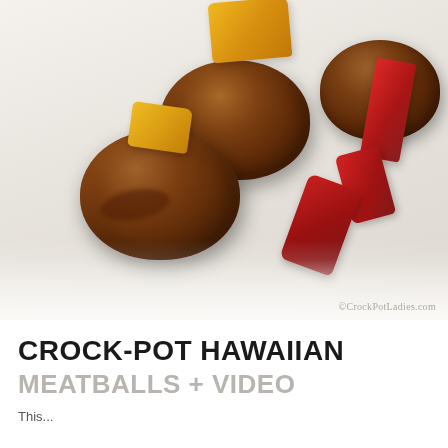[Figure (photo): Close-up photo of Hawaiian meatballs on a white plate, glazed with brown sauce, surrounded by red and yellow bell pepper pieces. Watermark reads CrockPotLadies.com.]
CROCK-POT HAWAIIAN
MEATBALLS + VIDEO
This...